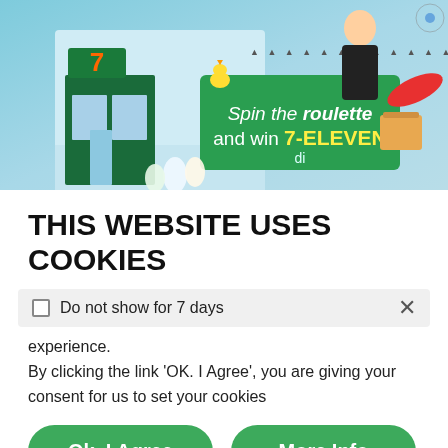[Figure (screenshot): 7-Eleven promotional banner showing a woman posing with a sign that reads 'Spin the roulette and win 7-ELEVEN' with store imagery and products.]
THIS WEBSITE USES COOKIES
Do not show for 7 days
experience.
By clicking the link 'OK. I Agree', you are giving your consent for us to set your cookies
Ok, I Agree
More Info